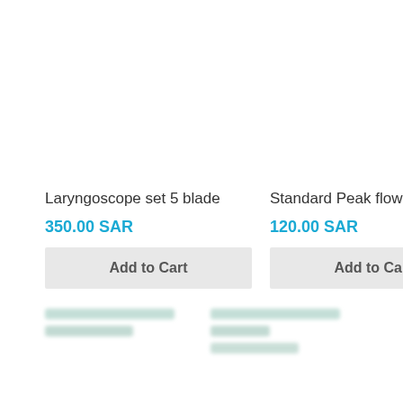Laryngoscope set 5 blade
350.00 SAR
Add to Cart
Standard Peak flow meter , ...
120.00 SAR
Add to Cart